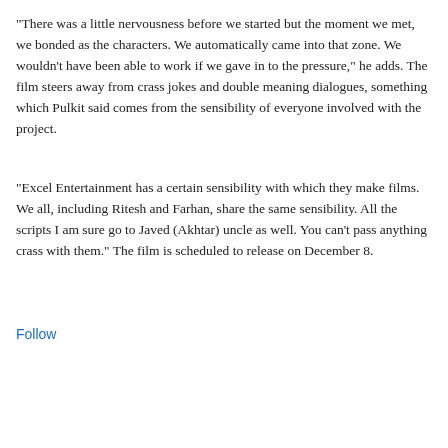"There was a little nervousness before we started but the moment we met, we bonded as the characters. We automatically came into that zone. We wouldn't have been able to work if we gave in to the pressure," he adds. The film steers away from crass jokes and double meaning dialogues, something which Pulkit said comes from the sensibility of everyone involved with the project.
"Excel Entertainment has a certain sensibility with which they make films. We all, including Ritesh and Farhan, share the same sensibility. All the scripts I am sure go to Javed (Akhtar) uncle as well. You can't pass anything crass with them." The film is scheduled to release on December 8.
Follow
[Figure (other): A card/widget area with a light gray rounded rectangle background, a blue square in the top-right corner overlapping the card, and bold text 'Agencies' inside the card.]